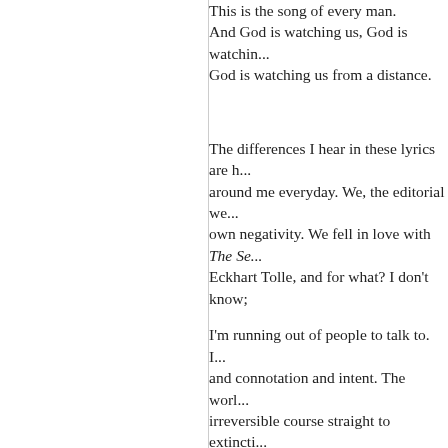This is the song of every man. And God is watching us, God is watching us, God is watching us from a distance.
The differences I hear in these lyrics are happening around me everyday. We, the editorial we, wallow in our own negativity. We fell in love with The Secret and Eckhart Tolle, and for what? I don't know;
I'm running out of people to talk to. I care about words and connotation and intent. The world is on an irreversible course straight to extinction. We see it (extinction) as the perfectly natural aftermath of the decisions we have made. Decisions about how we keep score and value every aspect of our lives. And yet, we seem to prefer the things and the conditions we see around us — an educational system without realizing that we pay football players and actors much more; People needlessly die because we value drug companies' profits over lifestyle changes. We invest billions in d... longer on a planet that we KNOW is ... We created a political system that enf... People and those who claim to repres... power among themselves while they...